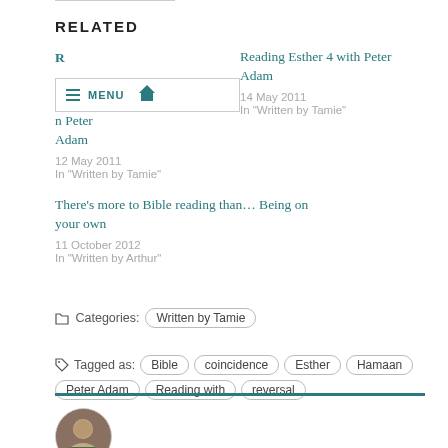RELATED
Reading Esther 3 with Peter Adam
12 May 2011
In 'Written by Tamie'
Reading Esther 4 with Peter Adam
14 May 2011
In 'Written by Tamie'
There's more to Bible reading than... Being on your own
11 October 2012
In 'Written by Arthur'
Categories: Written by Tamie
Tagged as: Bible  coincidence  Esther  Hamaan  Peter Adam  Reading with  reversal
[Figure (photo): Circular avatar photo of a person]